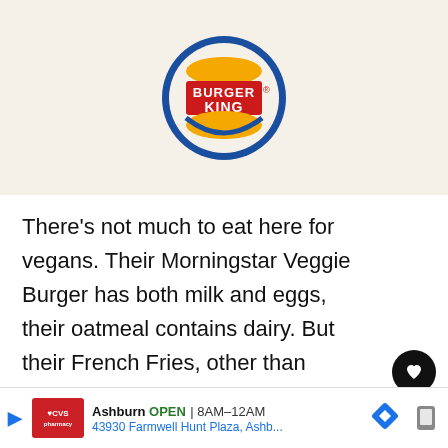[Figure (logo): Burger King logo — circular logo with red text 'BURGER KING' on white buns with yellow swoosh, blue ring border]
There's not much to eat here for vegans. Their Morningstar Veggie Burger has both milk and eggs, their oatmeal contains dairy. But their French Fries, other than McDonald's, are vegan – be aware that the frier might be shared with other animal-based foods though.
[Figure (screenshot): Ad banner: CVS Pharmacy, Ashburn OPEN 8AM–12AM, 43930 Farmwell Hunt Plaza, Ashb...]